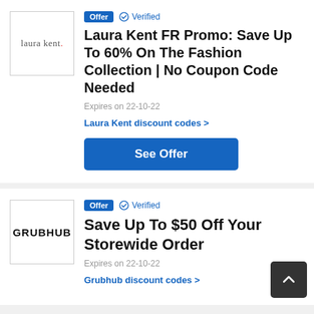[Figure (logo): Laura Kent logo: text 'laura kent.' with a red dot]
Offer  ✓ Verified
Laura Kent FR Promo: Save Up To 60% On The Fashion Collection | No Coupon Code Needed
Expires on 22-10-22
Laura Kent discount codes >
See Offer
[Figure (logo): Grubhub logo: bold text 'GRUBHUB' in black]
Offer  ✓ Verified
Save Up To $50 Off Your Storewide Order
Expires on 22-10-22
Grubhub discount codes >